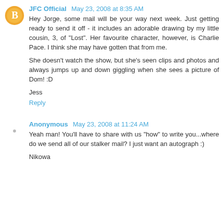JFC Official  May 23, 2008 at 8:35 AM
Hey Jorge, some mail will be your way next week. Just getting ready to send it off - it includes an adorable drawing by my little cousin, 3, of "Lost". Her favourite character, however, is Charlie Pace. I think she may have gotten that from me.

She doesn't watch the show, but she's seen clips and photos and always jumps up and down giggling when she sees a picture of Dom! :D

Jess
Reply
Anonymous  May 23, 2008 at 11:24 AM
Yeah man! You'll have to share with us "how" to write you...where do we send all of our stalker mail? I just want an autograph :)

Nikowa